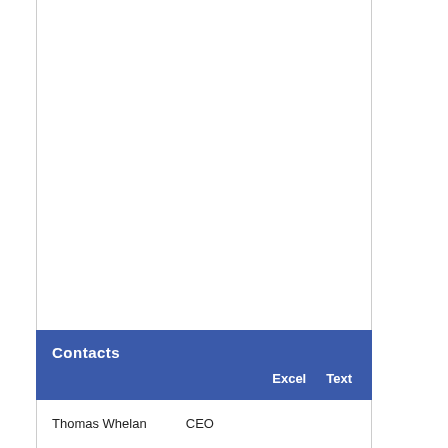Contacts
|  | Excel | Text |
| --- | --- | --- |
| Thomas Whelan | CEO |  |